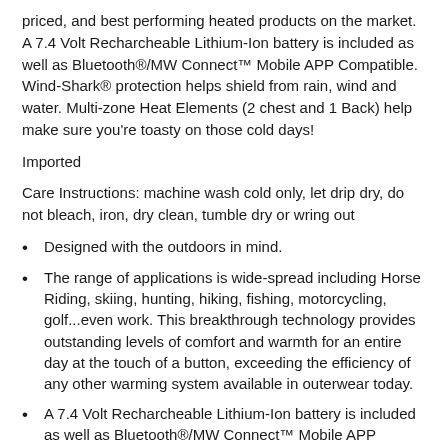priced, and best performing heated products on the market. A 7.4 Volt Recharcheable Lithium-Ion battery is included as well as Bluetooth®/MW Connect™ Mobile APP Compatible. Wind-Shark® protection helps shield from rain, wind and water. Multi-zone Heat Elements (2 chest and 1 Back) help make sure you're toasty on those cold days!
Imported
Care Instructions: machine wash cold only, let drip dry, do not bleach, iron, dry clean, tumble dry or wring out
Designed with the outdoors in mind.
The range of applications is wide-spread including Horse Riding, skiing, hunting, hiking, fishing, motorcycling, golf...even work. This breakthrough technology provides outstanding levels of comfort and warmth for an entire day at the touch of a button, exceeding the efficiency of any other warming system available in outerwear today.
A 7.4 Volt Recharcheable Lithium-Ion battery is included as well as Bluetooth®/MW Connect™ Mobile APP Compatible.